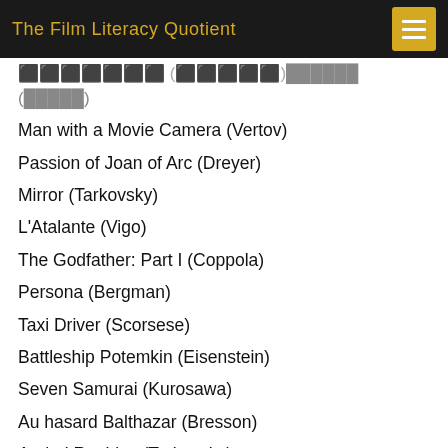The Film Literacy Quotient
[truncated] (Sturdy)
Man with a Movie Camera (Vertov)
Passion of Joan of Arc (Dreyer)
Mirror (Tarkovsky)
L'Atalante (Vigo)
The Godfather: Part I (Coppola)
Persona (Bergman)
Taxi Driver (Scorsese)
Battleship Potemkin (Eisenstein)
Seven Samurai (Kurosawa)
Au hasard Balthazar (Bresson)
Andrei Roublev (Tarkovsky)
The Bicycle Thieves (Sica)
Rashomon (Kurosawa)
Ordet (Dreyer)
The 400 Blows (Truffaut)
L'avventura (Antonioni)